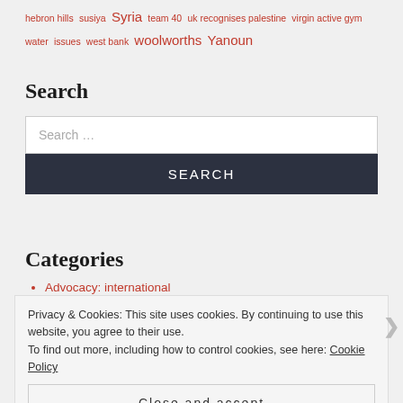hebron hills susiya Syria team 40 uk recognises palestine virgin active gym water issues west bank woolworths Yanoun
Search
Search …
SEARCH
Categories
Advocacy: international
Privacy & Cookies: This site uses cookies. By continuing to use this website, you agree to their use.
To find out more, including how to control cookies, see here: Cookie Policy
Close and accept